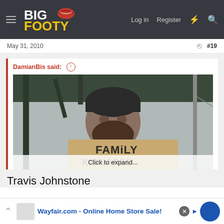BigFooty — Log in  Register
May 31, 2010   #19
DamianBis said: ↑
[Figure (photo): Man with beard and beanie hat holding a cardboard sign reading 'FAMILY KIDNAPED']
Click to expand...
Travis Johnstone
Wayfair.com - Online Home Store Sale!